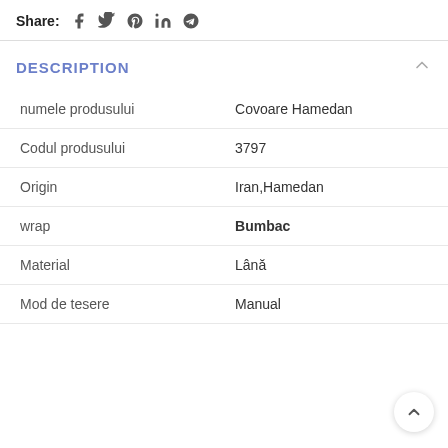Share: [social icons: Facebook, Twitter, Pinterest, LinkedIn, Telegram]
DESCRIPTION
| numele produsului | Covoare Hamedan |
| Codul produsului | 3797 |
| Origin | Iran,Hamedan |
| wrap | Bumbac |
| Material | Lână |
| Mod de tesere | Manual |